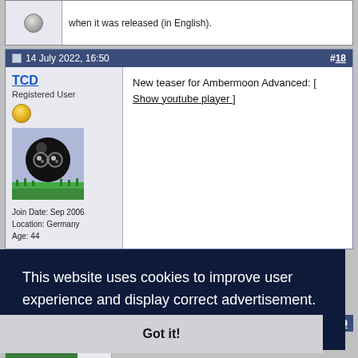when it was released (in English).
14 July 2022, 16:50  #18
TCD
Registered User
Join Date: Sep 2006
Location: Germany
Age: 44
New teaser for Ambermoon Advanced: [ Show youtube player ]
This website uses cookies to improve user experience and display correct advertisement.  Learn more
Got it!